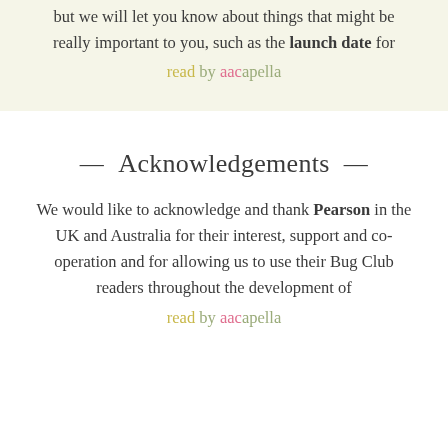but we will let you know about things that might be really important to you, such as the launch date for read by aacapella
— Acknowledgements —
We would like to acknowledge and thank Pearson in the UK and Australia for their interest, support and co-operation and for allowing us to use their Bug Club readers throughout the development of read by aacapella